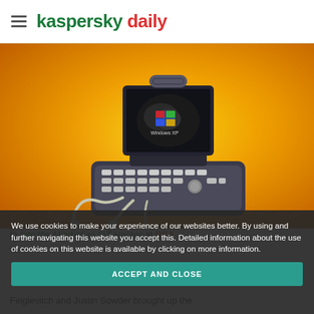kaspersky daily
[Figure (photo): A portable ultrasound machine with a dark screen displaying a Windows XP logo overlaid on an ultrasound scan image, with two ultrasound probes visible. The device is photographed against a bright yellow-to-orange gradient background.]
We use cookies to make your experience of our websites better. By using and further navigating this website you accept this. Detailed information about the use of cookies on this website is available by clicking on more information.
In Into the Mind of an IoT Hacker at RSA
Feiglevitch and Justin Sowder brought up the